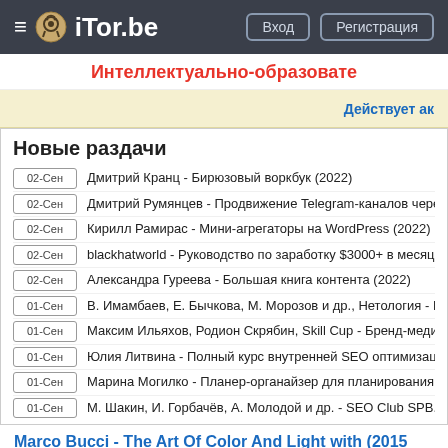≡ iTor.be | Вход | Регистрация
Интеллектуально-образовате...
Действует ак...
Новые раздачи
02-Сен  Дмитрий Кранц - Бирюзовый воркбук (2022)
02-Сен  Дмитрий Румянцев - Продвижение Telegram-каналов через Янд...
02-Сен  Кирилл Рамирас - Мини-агрегаторы на WordPress (2022)
02-Сен  blackhatworld - Руководство по заработку $3000+ в месяц на Тик...
02-Сен  Александра Гуреева - Большая книга контента (2022)
01-Сен  В. Имамбаев, Е. Бычкова, М. Морозов и др., Нетология - Контен...
01-Сен  Максим Ильяхов, Родион Скрябин, Skill Cup - Бренд-медиа, бло...
01-Сен  Юлия Литвина - Полный курс внутренней SEO оптимизации Wor...
01-Сен  Марина Могилко - Планер-органайзер для планирования и созд...
01-Сен  М. Шакин, И. Горбачёв, А. Молодой и др. - SEO Club SPB. Июль...
Marco Bucci - The Art Of Color And Light with (2015...